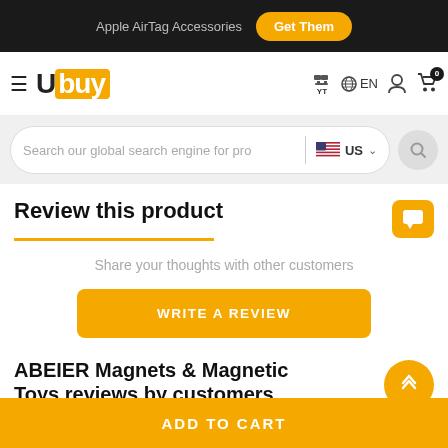Apple AirTag Accessories  Get Them
[Figure (logo): Ubuy logo with orange background on 'buy' portion, hamburger menu icon, and navigation icons: YT, globe/EN, user, cart with 0 badge]
[Figure (screenshot): Search bar with placeholder 'Search our global search engine for pro', US flag and 'US' dropdown, and search button]
Review this product
Share your thoughts with other customers
WRITE A REVIEW
ABEIER Magnets & Magnetic Toys reviews by customers
ADD TO CART